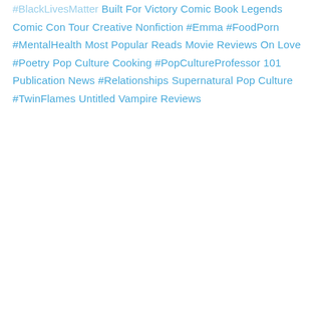#BlackLivesMatter
Built For Victory
Comic Book Legends
Comic Con Tour
Creative Nonfiction
#Emma
#FoodPorn
#MentalHealth
Most Popular Reads
Movie Reviews
On Love
#Poetry
Pop Culture Cooking
#PopCultureProfessor 101
Publication News
#Relationships
Supernatural Pop Culture
#TwinFlames
Untitled
Vampire Reviews